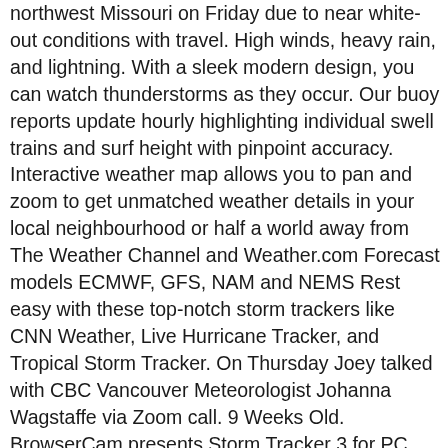northwest Missouri on Friday due to near white-out conditions with travel. High winds, heavy rain, and lightning. With a sleek modern design, you can watch thunderstorms as they occur. Our buoy reports update hourly highlighting individual swell trains and surf height with pinpoint accuracy. Interactive weather map allows you to pan and zoom to get unmatched weather details in your local neighbourhood or half a world away from The Weather Channel and Weather.com Forecast models ECMWF, GFS, NAM and NEMS Rest easy with these top-notch storm trackers like CNN Weather, Live Hurricane Tracker, and Tropical Storm Tracker. On Thursday Joey talked with CBC Vancouver Meteorologist Johanna Wagstaffe via Zoom call. 9 Weeks Old. BrowserCam presents Storm Tracker 3 for PC (laptop) download for free. The storm track will shift farther north into BC later in the week, at which point we'll see a return to more frequent, more progressive storms. The federal weather agency expects strong southeast winds of 60 km/hr to 100 km/hr to develop ahead of the storm in the South Coast late this afternoon, with winds strongest in Metro Vancouver from 9 pm to 2 am. ALAN SMITH .